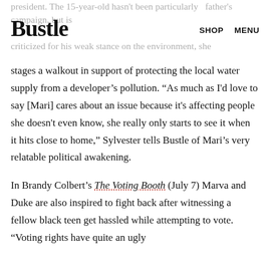Bustle  SHOP  MENU
president. The 15-year-old hasn't been particularly father's campaign, but is criticized for his weak stance on the environment, she
stages a walkout in support of protecting the local water supply from a developer's pollution. “As much as I'd love to say [Mari] cares about an issue because it's affecting people she doesn't even know, she really only starts to see it when it hits close to home,” Sylvester tells Bustle of Mari’s very relatable political awakening.
In Brandy Colbert’s The Voting Booth (July 7) Marva and Duke are also inspired to fight back after witnessing a fellow black teen get hassled while attempting to vote. “Voting rights have quite an ugly